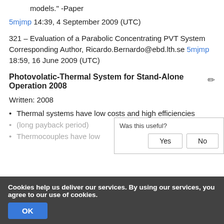models." -Paper
5mjmp 14:39, 4 September 2009 (UTC)
321 – Evaluation of a Parabolic Concentrating PVT System Corresponding Author, Ricardo.Bernardo@ebd.lth.se 5mjmp 18:59, 16 June 2009 (UTC)
Photovolatic-Thermal System for Stand-Alone Operation 2008
Written: 2008
Thermal systems have low costs and high efficiencies
(long payback period)
Thermocouples have low...
Cookies help us deliver our services. By using our services, you agree to our use of cookies.